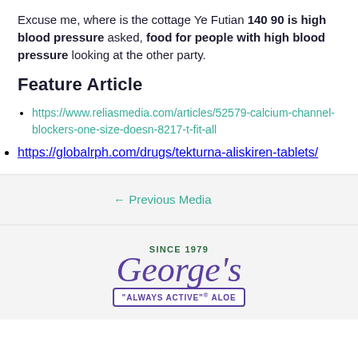Excuse me, where is the cottage Ye Futian 140 90 is high blood pressure asked, food for people with high blood pressure looking at the other party.
Feature Article
https://www.reliasmedia.com/articles/52579-calcium-channel-blockers-one-size-doesn-8217-t-fit-all
https://globalrph.com/drugs/tekturna-aliskiren-tablets/
← Previous Media
[Figure (logo): George's Aloe logo with 'SINCE 1979' text above the cursive 'George's' script in purple, and a box reading '"ALWAYS ACTIVE" ® ALOE' below.]